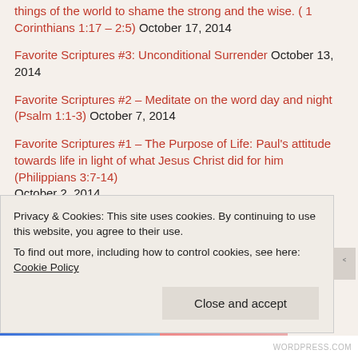things of the world to shame the strong and the wise. ( 1 Corinthians 1:17 – 2:5) October 17, 2014
Favorite Scriptures #3: Unconditional Surrender October 13, 2014
Favorite Scriptures #2 – Meditate on the word day and night (Psalm 1:1-3) October 7, 2014
Favorite Scriptures #1 – The Purpose of Life: Paul's attitude towards life in light of what Jesus Christ did for him (Philippians 3:7-14) October 2, 2014
From Allah to Jesus Christ….a video testimony from Dr. Nabeel Qureshi September 29, 2014
Catholicism and the Veneration of Mary September 24, 2014
Ecumenism Part I: Jesus Christ, as He is in the word, is the only way to God September 18, 2014
Privacy & Cookies: This site uses cookies. By continuing to use this website, you agree to their use. To find out more, including how to control cookies, see here: Cookie Policy